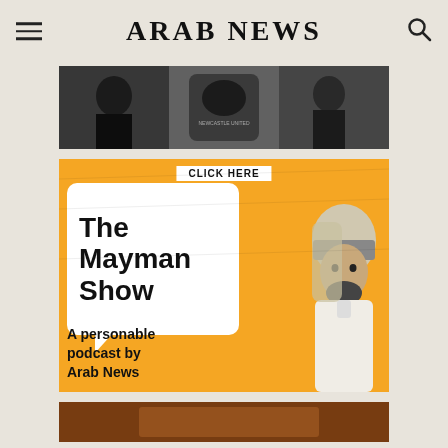ARAB NEWS
[Figure (photo): Black and white photo of Newcastle United football fans/players celebrating, with the Newcastle United crest visible in the center]
[Figure (illustration): Orange advertisement for The Mayman Show - A personable podcast by Arab News. Features a speech bubble with the show title, illustrated portrait of an Arab man in traditional dress, and a 'CLICK HERE' button at the top.]
[Figure (photo): Partial view of another image at the bottom of the page, dark/warm toned]